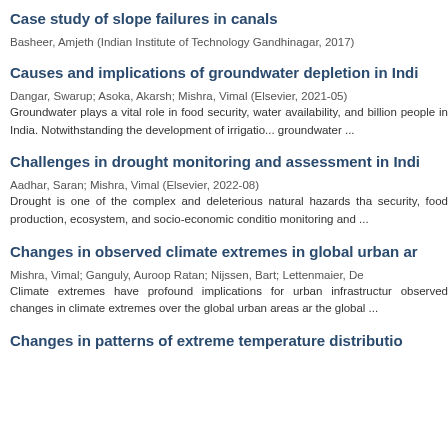Case study of slope failures in canals
Basheer, Amjeth (Indian Institute of Technology Gandhinagar, 2017)
Causes and implications of groundwater depletion in Indi...
Dangar, Swarup; Asoka, Akarsh; Mishra, Vimal (Elsevier, 2021-05)
Groundwater plays a vital role in food security, water availability, and billion people in India. Notwithstanding the development of irrigation, groundwater ...
Challenges in drought monitoring and assessment in Indi...
Aadhar, Saran; Mishra, Vimal (Elsevier, 2022-08)
Drought is one of the complex and deleterious natural hazards that security, food production, ecosystem, and socio-economic conditions, monitoring and ...
Changes in observed climate extremes in global urban ar...
Mishra, Vimal; Ganguly, Auroop Ratan; Nijssen, Bart; Lettenmaier, De...
Climate extremes have profound implications for urban infrastructure. observed changes in climate extremes over the global urban areas and the global ...
Changes in patterns of extreme temperature distributio...